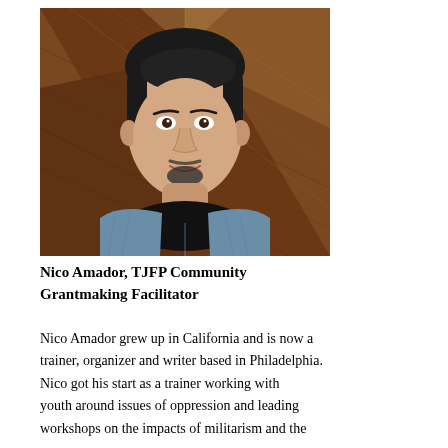[Figure (photo): Headshot of Nico Amador, a man with dark hair and a goatee, wearing a blue denim shirt over a black shirt, photographed against a wooden background.]
Nico Amador, TJFP Community Grantmaking Facilitator
Nico Amador grew up in California and is now a trainer, organizer and writer based in Philadelphia. Nico got his start as a trainer working with youth around issues of oppression and leading workshops on the impacts of militarism and the